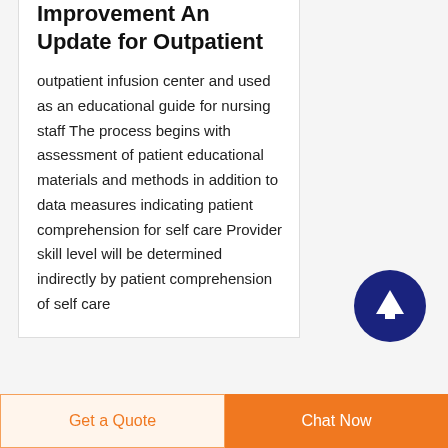Improvement An Update for Outpatient
outpatient infusion center and used as an educational guide for nursing staff The process begins with assessment of patient educational materials and methods in addition to data measures indicating patient comprehension for self care Provider skill level will be determined indirectly by patient comprehension of self care
[Figure (other): Dark blue circular button with white upward arrow icon (scroll to top button)]
Get a Quote
Chat Now